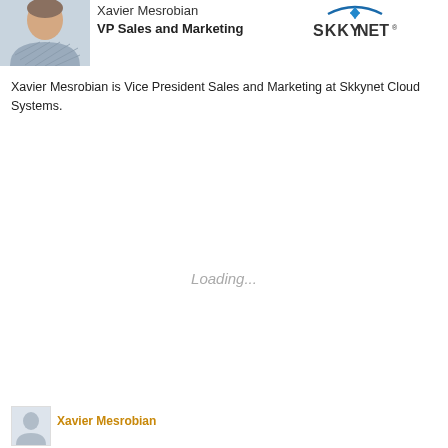[Figure (photo): Headshot photo of Xavier Mesrobian, a man in a blue/grey patterned shirt]
Xavier Mesrobian
VP Sales and Marketing
[Figure (logo): SKKYNET logo with stylized arc and diamond graphic above the text]
Xavier Mesrobian is Vice President Sales and Marketing at Skkynet Cloud Systems.
Loading...
[Figure (photo): Small placeholder silhouette avatar photo for Xavier Mesrobian at the bottom of the page]
Xavier Mesrobian